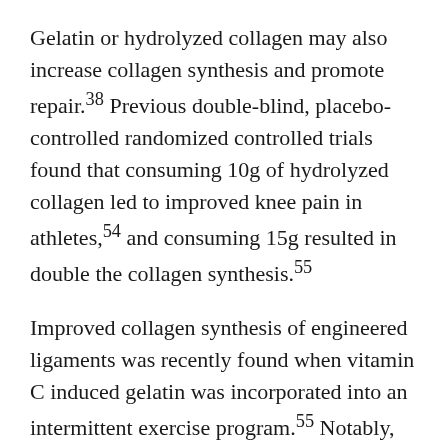Gelatin or hydrolyzed collagen may also increase collagen synthesis and promote repair.38 Previous double-blind, placebo-controlled randomized controlled trials found that consuming 10g of hydrolyzed collagen led to improved knee pain in athletes,54 and consuming 15g resulted in double the collagen synthesis.55
Improved collagen synthesis of engineered ligaments was recently found when vitamin C induced gelatin was incorporated into an intermittent exercise program.55 Notably, Gatorade now recommends ingesting both vitamin C and gelatin to prevent connective tissue injuries and accelerate recovery following injury.56 While turmeric curcumin, taurine, arginine, bromelain and boswellic acid have all been linked to tendon and ligament health due to their ability to reduce inflammation, the role of inflammation in